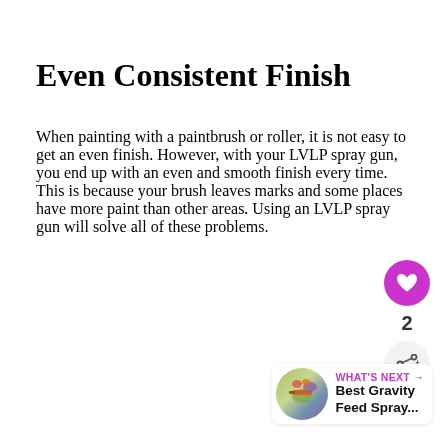Even Consistent Finish
When painting with a paintbrush or roller, it is not easy to get an even finish. However, with your LVLP spray gun, you end up with an even and smooth finish every time. This is because your brush leaves marks and some places have more paint than other areas. Using an LVLP spray gun will solve all of these problems.
[Figure (infographic): Heart/like button (magenta circle with heart icon), like count '2', and share button (circle with share icon)]
[Figure (infographic): What's next card with small circular image of a spray gun, label 'WHAT'S NEXT →', and title 'Best Gravity Feed Spray...']